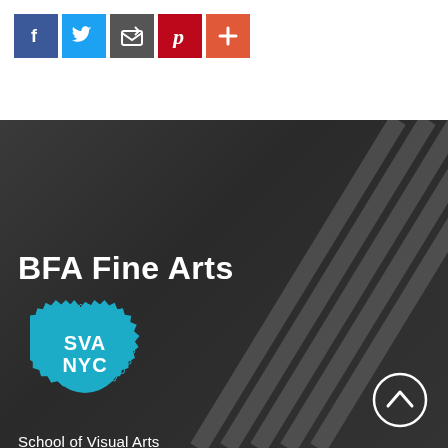[Figure (infographic): Social media sharing icons row: Facebook (blue), Twitter (light blue), Email/share (dark gray), Pinterest (red), More/plus (orange-red)]
BFA Fine Arts
[Figure (logo): SVA NYC teal/cyan badge logo with gear/starburst border]
School of Visual Arts
Fine Arts Building
– Undergraduate BFA Fine Arts
335 West 16 Street
New York, NY 10011
(+1) 212.592.2510